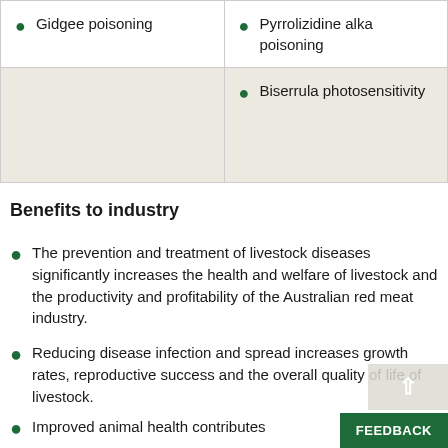| Column1 | Column2 |
| --- | --- |
| Gidgee poisoning | Pyrrolizidine alka poisoning |
|  | Biserrula photosensitivity |
Benefits to industry
The prevention and treatment of livestock diseases significantly increases the health and welfare of livestock and the productivity and profitability of the Australian red meat industry.
Reducing disease infection and spread increases growth rates, reproductive success and the overall quality of life of livestock.
Improved animal health contributes